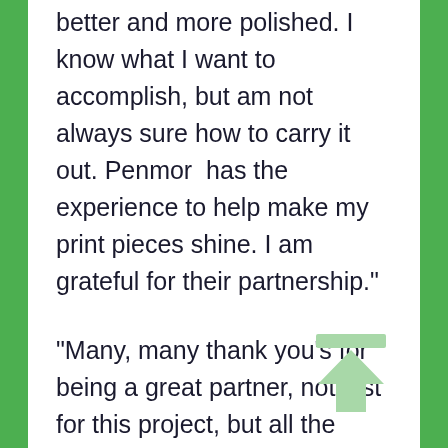better and more polished. I know what I want to accomplish, but am not always sure how to carry it out. Penmor  has the experience to help make my print pieces shine. I am grateful for their partnership."
Cindy
Marketing and Design
St. Paul's School
"Many, many thank you's for being a great partner, not just for this project, but all the others you and the team so